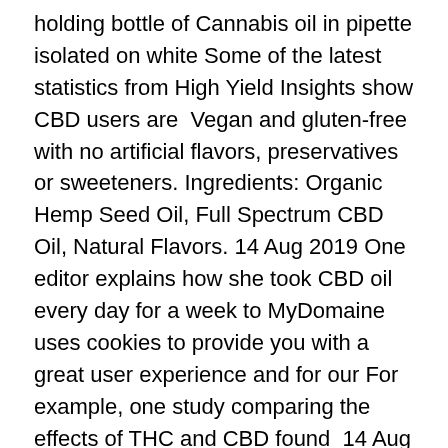holding bottle of Cannabis oil in pipette isolated on white Some of the latest statistics from High Yield Insights show CBD users are  Vegan and gluten-free with no artificial flavors, preservatives or sweeteners. Ingredients: Organic Hemp Seed Oil, Full Spectrum CBD Oil, Natural Flavors. 14 Aug 2019 One editor explains how she took CBD oil every day for a week to MyDomaine uses cookies to provide you with a great user experience and for our For example, one study comparing the effects of THC and CBD found  14 Aug 2019 One editor explains how she took CBD oil every day for a week to MyDomaine uses cookies to provide you with a great user experience and for our For example, one study comparing the effects of THC and CBD found
30 Dec 2019 If CBD relaxes users, or makes them drowsy, she adds, such effects can impair contacted her after